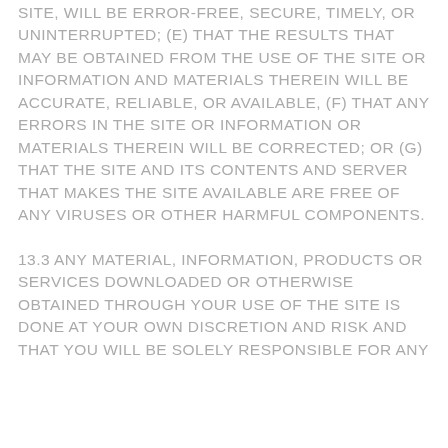SITE, WILL BE ERROR-FREE, SECURE, TIMELY, OR UNINTERRUPTED; (E) THAT THE RESULTS THAT MAY BE OBTAINED FROM THE USE OF THE SITE OR INFORMATION AND MATERIALS THEREIN WILL BE ACCURATE, RELIABLE, OR AVAILABLE, (F) THAT ANY ERRORS IN THE SITE OR INFORMATION OR MATERIALS THEREIN WILL BE CORRECTED; OR (G) THAT THE SITE AND ITS CONTENTS AND SERVER THAT MAKES THE SITE AVAILABLE ARE FREE OF ANY VIRUSES OR OTHER HARMFUL COMPONENTS.
13.3 ANY MATERIAL, INFORMATION, PRODUCTS OR SERVICES DOWNLOADED OR OTHERWISE OBTAINED THROUGH YOUR USE OF THE SITE IS DONE AT YOUR OWN DISCRETION AND RISK AND THAT YOU WILL BE SOLELY RESPONSIBLE FOR ANY